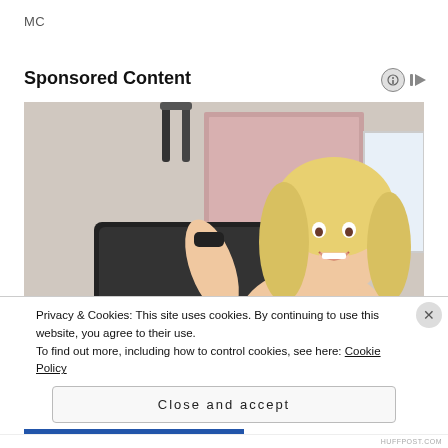MC
Sponsored Content
[Figure (photo): A smiling blonde woman in a pink and black striped athletic top posing on the floor next to a black rolling luggage bag with a clear toiletry pouch attached to the front.]
Privacy & Cookies: This site uses cookies. By continuing to use this website, you agree to their use.
To find out more, including how to control cookies, see here: Cookie Policy
Close and accept